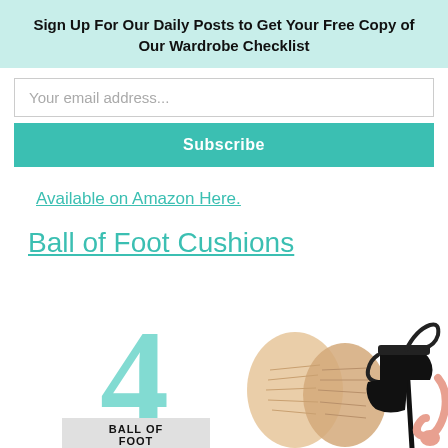Sign Up For Our Daily Posts to Get Your Free Copy of Our Wardrobe Checklist
Your email address...
Subscribe
Available on Amazon Here.
Ball of Foot Cushions
[Figure (photo): Product image showing foot cushions and a high heel shoe, with a large teal number 4 and text 'BALL OF FOOT' label]